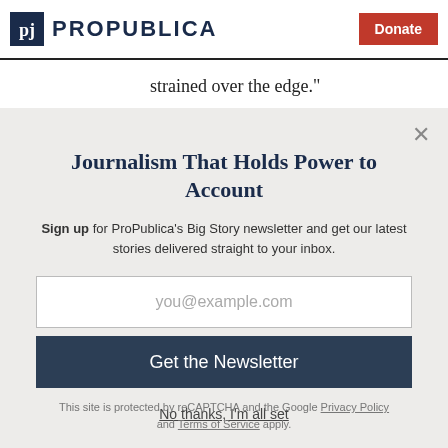ProPublica | Donate
strained over the edge."
Journalism That Holds Power to Account
Sign up for ProPublica's Big Story newsletter and get our latest stories delivered straight to your inbox.
you@example.com
Get the Newsletter
No thanks, I'm all set
This site is protected by reCAPTCHA and the Google Privacy Policy and Terms of Service apply.